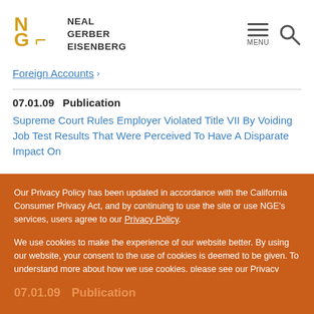[Figure (logo): Neal Gerber Eisenberg law firm logo with NGE letters in orange/gold and firm name in dark gray]
Foreign Accounts >
07.01.09   Publication
Supreme Court Rules Employer Violated Title VII By Voiding Job Test Results That Were Perceived To Have A Disparate Impact On
Our Privacy Policy has been updated in accordance with the California Consumer Privacy Act, and by continuing to use the site or use NGE’s services, users agree to our Privacy Policy.
We use cookies to make the experience of our website better. By using our website, your consent to the use of cookies is deemed to be given. To understand more about how we use cookies, please see our Privacy Policy.